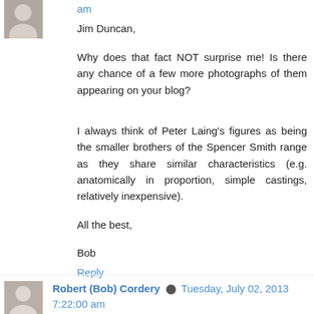am
Jim Duncan,
Why does that fact NOT surprise me! Is there any chance of a few more photographs of them appearing on your blog?
I always think of Peter Laing's figures as being the smaller brothers of the Spencer Smith range as they share similar characteristics (e.g. anatomically in proportion, simple castings, relatively inexpensive).
All the best,
Bob
Reply
Robert (Bob) Cordery  Tuesday, July 02, 2013 7:22:00 am
Archduke Piccolo,